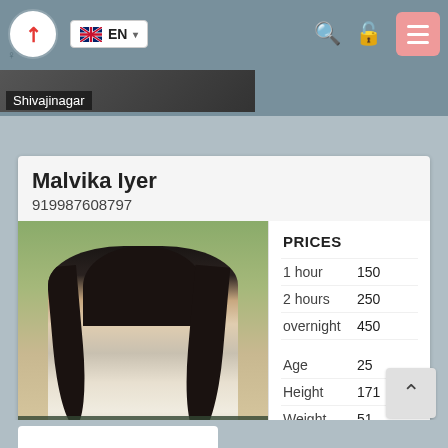EN
Shivajinagar
Malvika Iyer
919987608797
[Figure (photo): Photo of a woman with long dark hair wearing a silver/white draped top, posed outdoors with a natural background]
Vishwand Waddy
|  |  |
| --- | --- |
| PRICES |  |
| 1 hour | 150 |
| 2 hours | 250 |
| overnight | 450 |
| Age | 25 |
| Height | 171 |
| Weight | 51 |
| Breast | 3 |